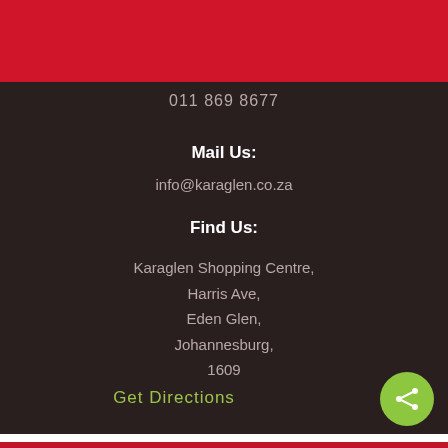[Figure (logo): Karaglen SuperSpar logo with leaf graphic on dark background]
011 869 8677
Mail Us:
info@karaglen.co.za
Find Us:
Karaglen Shopping Centre,
Harris Ave,
Eden Glen,
Johannesburg,
1609
Get Directions